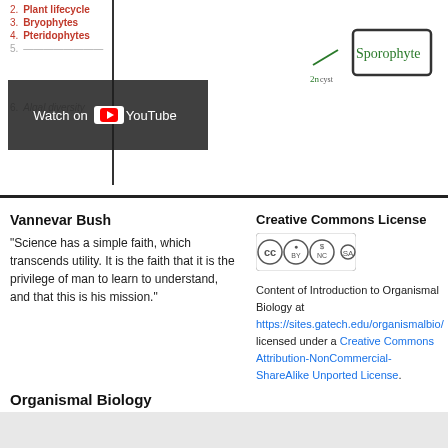[Figure (screenshot): Screenshot of a YouTube video showing a biology lecture with a numbered list (Plant lifecycle, Bryophytes, Pteridophytes) and a hand-drawn diagram with 'Sporophyte' labeled, overlaid with YouTube player controls.]
Vannevar Bush
“Science has a simple faith, which transcends utility. It is the faith that it is the privilege of man to learn to understand, and that this is his mission.”
Creative Commons License
[Figure (logo): Creative Commons BY-NC-SA license badge]
Content of Introduction to Organismal Biology at https://sites.gatech.edu/organismalbio/ licensed under a Creative Commons Attribution-NonCommercial-ShareAlike Unported License.
Organismal Biology